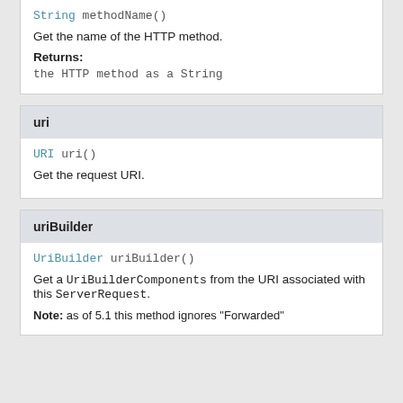String methodName()
Get the name of the HTTP method.
Returns:
the HTTP method as a String
uri
URI uri()
Get the request URI.
uriBuilder
UriBuilder uriBuilder()
Get a UriBuilderComponents from the URI associated with this ServerRequest.
Note: as of 5.1 this method ignores "Forwarded"